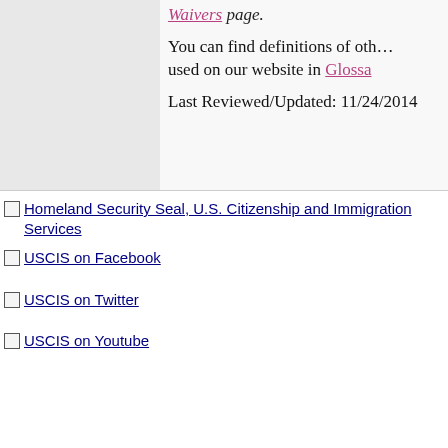Waivers page.
You can find definitions of other terms used on our website in Glossa…
Last Reviewed/Updated: 11/24/2014
[Figure (logo): Homeland Security Seal, U.S. Citizenship and Immigration Services]
[Figure (logo): USCIS on Facebook]
[Figure (logo): USCIS on Twitter]
[Figure (logo): USCIS on Youtube]